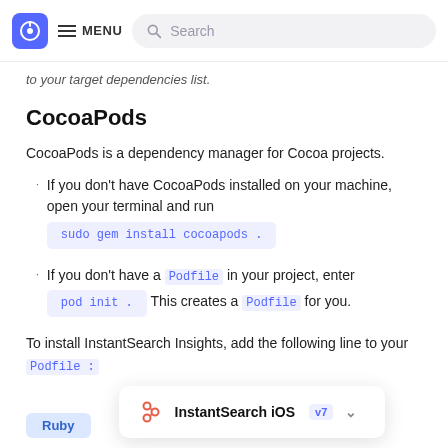MENU  Search
to your target dependencies list.
CocoaPods
CocoaPods is a dependency manager for Cocoa projects.
If you don't have CocoaPods installed on your machine, open your terminal and run sudo gem install cocoapods .
If you don't have a Podfile in your project, enter pod init . This creates a Podfile for you.
To install InstantSearch Insights, add the following line to your Podfile :
Ruby
InstantSearch iOS v7